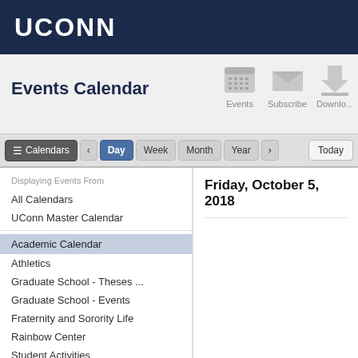UCONN
Events Calendar
Events
Subscribe
Download
Calendars  < Day  Week  Month  Year  >  Today
Displaying Events From
All Calendars
UConn Master Calendar
Academic Calendar
Athletics
Graduate School - Theses ...
Graduate School - Events
Fraternity and Sorority Life
Rainbow Center
Student Activities
Student Organizations Ma...
SUBOG - Student Union B...
Friday, October 5, 2018